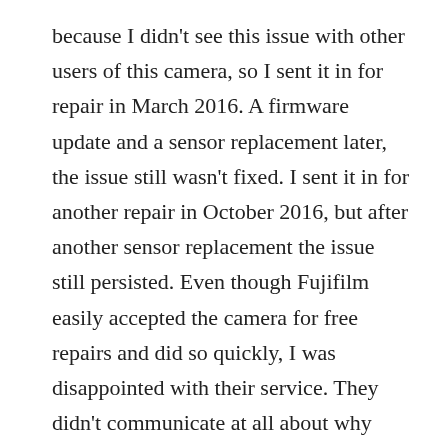because I didn't see this issue with other users of this camera, so I sent it in for repair in March 2016. A firmware update and a sensor replacement later, the issue still wasn't fixed. I sent it in for another repair in October 2016, but after another sensor replacement the issue still persisted. Even though Fujifilm easily accepted the camera for free repairs and did so quickly, I was disappointed with their service. They didn't communicate at all about why they replaced these parts or their diagnosis of this problem.
I discussed this on the Digital Photography Review forum. I received replies that this is normal behavior for this camera and that people tend to be